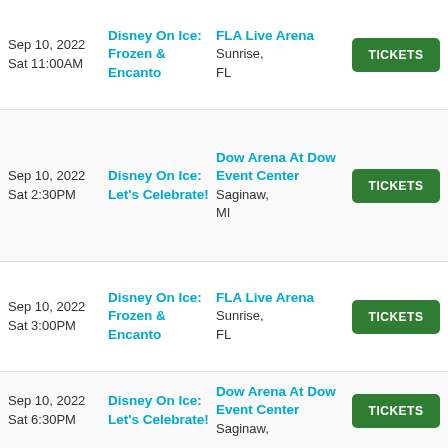| Date | Event | Venue | Action |
| --- | --- | --- | --- |
| Sep 10, 2022
Sat 11:00AM | Disney On Ice: Frozen & Encanto | FLA Live Arena
Sunrise, FL | TICKETS |
| Sep 10, 2022
Sat 2:30PM | Disney On Ice: Let's Celebrate! | Dow Arena At Dow Event Center
Saginaw, MI | TICKETS |
| Sep 10, 2022
Sat 3:00PM | Disney On Ice: Frozen & Encanto | FLA Live Arena
Sunrise, FL | TICKETS |
| Sep 10, 2022
Sat 6:30PM | Disney On Ice: Let's Celebrate! | Dow Arena At Dow Event Center
Saginaw, | TICKETS |